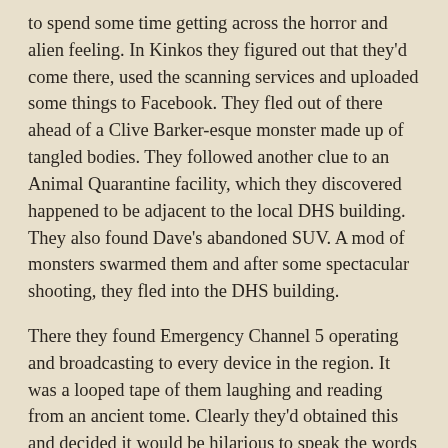to spend some time getting across the horror and alien feeling. In Kinkos they figured out that they'd come there, used the scanning services and uploaded some things to Facebook. They fled out of there ahead of a Clive Barker-esque monster made up of tangled bodies. They followed another clue to an Animal Quarantine facility, which they discovered happened to be adjacent to the local DHS building. They also found Dave's abandoned SUV. A mod of monsters swarmed them and after some spectacular shooting, they fled into the DHS building.
There they found Emergency Channel 5 operating and broadcasting to every device in the region. It was a looped tape of them laughing and reading from an ancient tome. Clearly they'd obtained this and decided it would be hilarious to speak the words out loud. The tape loop ended with them still laughing and the Groom beginning to shake. It was about this time that the group realized they'd caused all of this, between broadcasting an invocation to Ylgonac and uploading scans of the mind-blasting tome to their Facebook page. Chas reached for a bible she'd brought in hope that it would help.